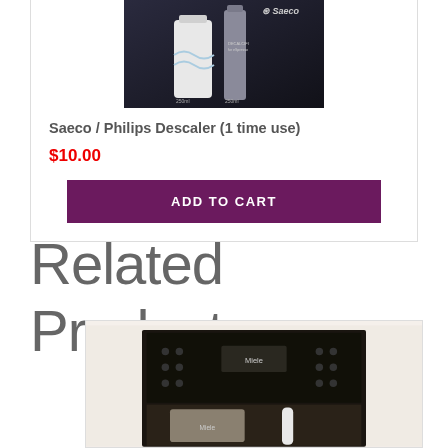[Figure (photo): Saeco / Philips Descaler product bottles on dark background with Saeco branding logo]
Saeco / Philips Descaler (1 time use)
$10.00
ADD TO CART
Related Products
[Figure (photo): Miele coffee machine with black glossy control panel showing buttons and display, with a white tube and silver component at bottom]